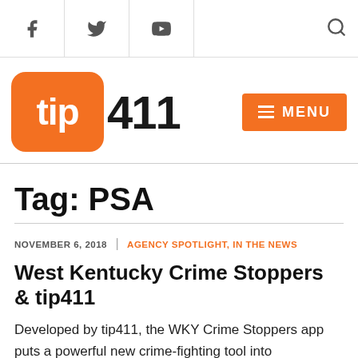tip411 website header with Facebook, Twitter, YouTube icons and search icon
[Figure (logo): tip411 logo: orange rounded square with 'tip' in white bold text, followed by '411' in large black bold text. Menu button in orange with hamburger lines and 'MENU' text.]
Tag: PSA
NOVEMBER 6, 2018 | AGENCY SPOTLIGHT, IN THE NEWS
West Kentucky Crime Stoppers & tip411
Developed by tip411, the WKY Crime Stoppers app puts a powerful new crime-fighting tool into